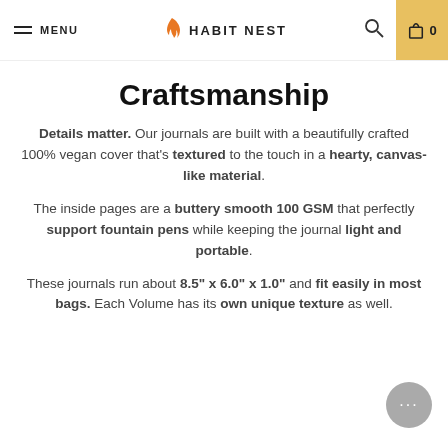MENU | HABIT NEST | 0
Craftsmanship
Details matter. Our journals are built with a beautifully crafted 100% vegan cover that's textured to the touch in a hearty, canvas-like material.
The inside pages are a buttery smooth 100 GSM that perfectly support fountain pens while keeping the journal light and portable.
These journals run about 8.5" x 6.0" x 1.0" and fit easily in most bags. Each Volume has its own unique texture as well.